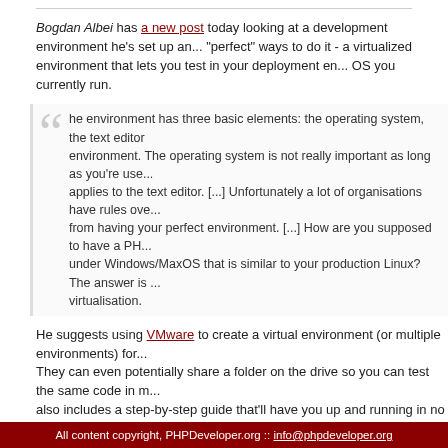Bogdan Albei has a new post today looking at a development environment he's set up and one of the "perfect" ways to do it - a virtualized environment that lets you test in your deployment environment regardless of the OS you currently run.
he environment has three basic elements: the operating system, the text editor and the development environment. The operating system is not really important as long as you're use... applies to the text editor. [...] Unfortunately a lot of organisations have rules over... from having your perfect environment. [...] How are you supposed to have a PH... under Windows/MaxOS that is similar to your production Linux? The answer is ... virtualisation.
He suggests using VMware to create a virtual environment (or multiple environments) for... They can even potentially share a folder on the drive so you can test the same code in m... also includes a step-by-step guide that'll have you up and running in no time. Obviously, y... your OS of choice to install from once the VMware instance is all set up.
tagged: virtual environment os vmware stepbystep development multiple
LINK:
Trending Topics:
All content copyright, PHPDeveloper.org :: info@phpdeveloper.org